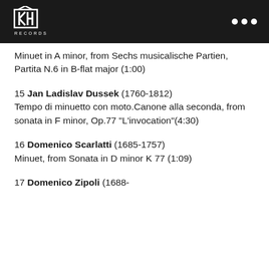KHM Records
Minuet in A minor, from Sechs musicalische Partien, Partita N.6 in B-flat major (1:00)
15 Jan Ladislav Dussek (1760-1812) Tempo di minuetto con moto.Canone alla seconda, from sonata in F minor, Op.77 "L'invocation"(4:30)
16 Domenico Scarlatti (1685-1757) Minuet, from Sonata in D minor K 77 (1:09)
17 Domenico Zipoli (1688-